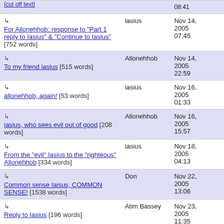| Title | Author | Date |
| --- | --- | --- |
| ↳ For Allonehhob: response to "Part 1 reply to Iasius" & "Continue to Iasius" [752 words] | iasius | Nov 14, 2005 07:45 |
| ↳ To my friend iasius [515 words] | Allonehhob | Nov 14, 2005 22:59 |
| ↳ allonehhob, again! [53 words] | iasius | Nov 16, 2005 01:33 |
| ↳ iasius, who sees evil out of good [208 words] | Allonehhob | Nov 16, 2005 15:57 |
| ↳ From the "evil" Iasius to the "righteous" Allonehhob [334 words] | iasius | Nov 18, 2005 04:13 |
| ↳ Common sense Iaisus, COMMON SENSE! [1538 words] | Don | Nov 22, 2005 13:06 |
| ↳ Reply to Iasius [196 words] | Atim Bassey | Nov 23, 2005 11:35 |
| ↳ Don's "common sense" [2327 words] | iasius | Nov 26, 2005 17:10 |